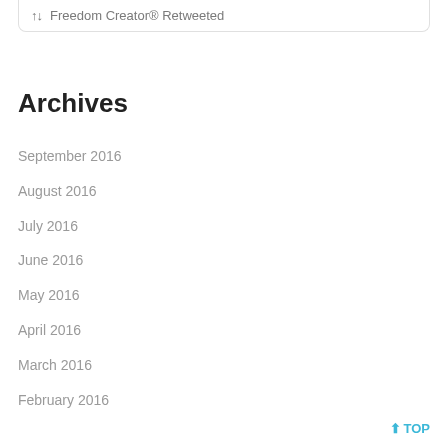Freedom Creator® Retweeted
Archives
September 2016
August 2016
July 2016
June 2016
May 2016
April 2016
March 2016
February 2016
↑ TOP